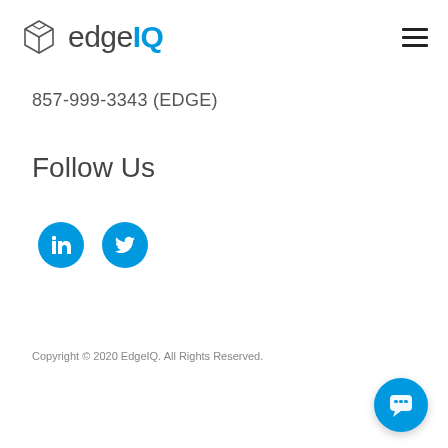edgeIQ — 857-999-3343 (EDGE)
Follow Us
[Figure (logo): LinkedIn circular blue icon]
[Figure (logo): Twitter circular blue icon]
Copyright © 2020 EdgeIQ. All Rights Reserved.
[Figure (illustration): Blue circular chat/support button in bottom right corner]